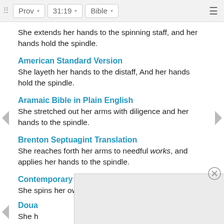Prov | 31:19 | Bible
She extends her hands to the spinning staff, and her hands hold the spindle.
American Standard Version
She layeth her hands to the distaff, And her hands hold the spindle.
Aramaic Bible in Plain English
She stretched out her arms with diligence and her hands to the spindle.
Brenton Septuagint Translation
She reaches forth her arms to needful works, and applies her hands to the spindle.
Contemporary English Version
She spins her own cloth.
Doua
She h... her